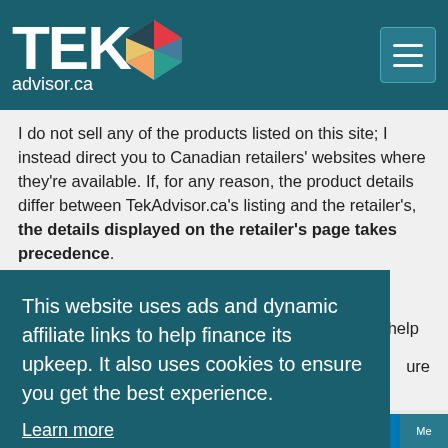TEKadvisor.ca
I do not sell any of the products listed on this site; I instead direct you to Canadian retailers' websites where they're available. If, for any reason, the product details differ between TekAdvisor.ca's listing and the retailer's, the details displayed on the retailer's page takes precedence.
Product photos, courtesy of their manufacturer.
Several APIs are used to keep this site up to date, help pay for my ... are
This website uses ads and dynamic affiliate links to help finance its upkeep. It also uses cookies to ensure you get the best experience.
Learn more
Opt for blind (non-targeted) ads
Keep targeted ads